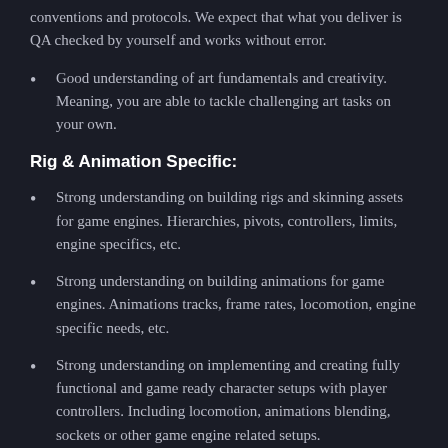conventions and protocols. We expect that what you deliver is QA checked by yourself and works without error.
Good understanding of art fundamentals and creativity. Meaning, you are able to tackle challenging art tasks on your own.
Rig & Animation Specific:
Strong understanding on building rigs and skinning assets for game engines. Hierarchies, pivots, controllers, limits, engine specifics, etc.
Strong understanding on building animations for game engines. Animations tracks, frame rates, locomotion, engine specific needs, etc.
Strong understanding on implementing and creating fully functional and game ready character setups with player controllers. Including locomotion, animations blending, sockets or other game engine related setups.